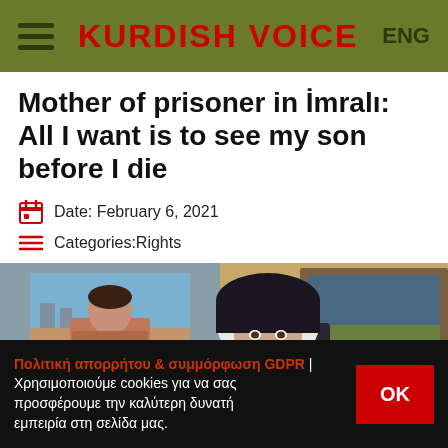KURDISH VOICE | ENG
Mother of prisoner in İmralı: All I want is to see my son before I die
Date: February 6, 2021
Categories:Rights
[Figure (photo): An elderly woman wearing a white headscarf sits beside a framed portrait photograph of a young man. The setting appears to be an interior room.]
Πολιτική απορρήτου & συμμόρφωση GDPR | Χρησιμοποιούμε cookies για να σας προσφέρουμε την καλύτερη δυνατή εμπειρία στη σελίδα μας.